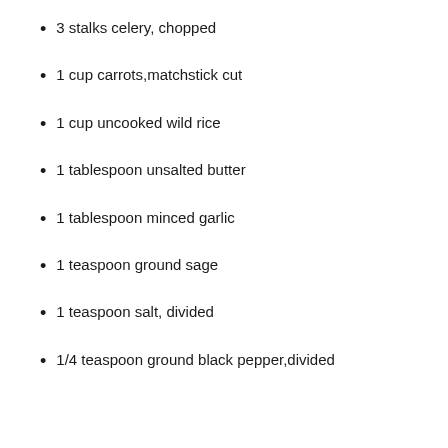3 stalks celery, chopped
1 cup carrots,matchstick cut
1 cup uncooked wild rice
1 tablespoon unsalted butter
1 tablespoon minced garlic
1 teaspoon ground sage
1 teaspoon salt, divided
1/4 teaspoon ground black pepper,divided